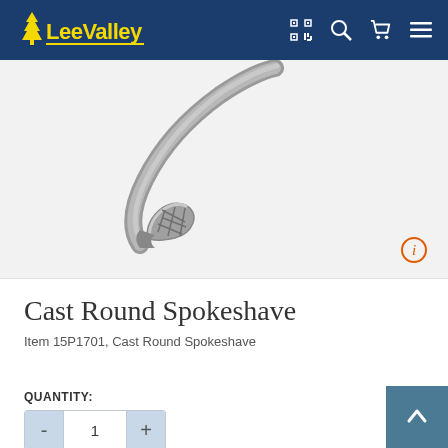Lee Valley — navigation bar with logo, barcode scanner, search, cart, and menu icons
[Figure (photo): Close-up photograph of a cast round spokeshave tool, showing the curved metal body and blade on a white/light gray background]
Cast Round Spokeshave
Item 15P1701, Cast Round Spokeshave
QUANTITY:
- 1 +